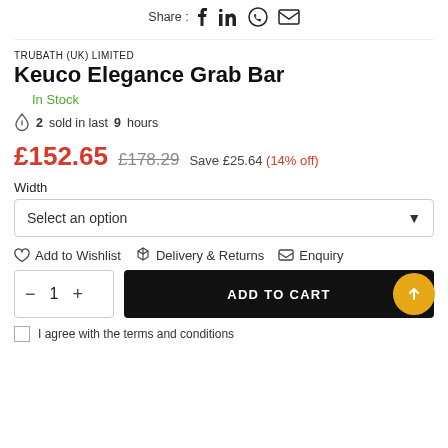Share : f in (whatsapp) (email)
TRUBATH (UK) LIMITED
Keuco Elegance Grab Bar
In Stock
2 sold in last 9 hours
£152.65  £178.29  Save £25.64 (14% off)
Width
Select an option
Add to Wishlist
Delivery & Returns
Enquiry
1  ADD TO CART
I agree with the terms and conditions